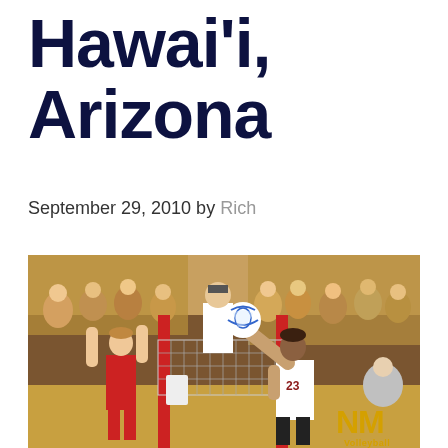Hawai'i, Arizona
September 29, 2010 by Rich
[Figure (photo): Volleyball match action photo showing player #23 in white uniform spiking the ball over the net against a player in red uniform, with a referee standing at the net and crowd in the background. NM Volleyball watermark visible in bottom right corner.]